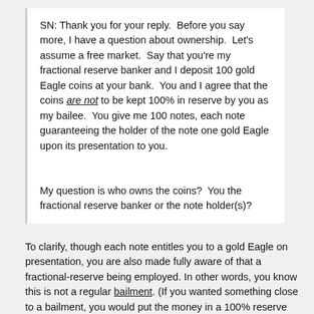SN: Thank you for your reply.  Before you say more, I have a question about ownership.  Let's assume a free market.  Say that you're my fractional reserve banker and I deposit 100 gold Eagle coins at your bank.  You and I agree that the coins are not to be kept 100% in reserve by you as my bailee.  You give me 100 notes, each note guaranteeing the holder of the note one gold Eagle upon its presentation to you.
My question is who owns the coins?  You the fractional reserve banker or the note holder(s)?
To clarify, though each note entitles you to a gold Eagle on presentation, you are also made fully aware of that a fractional-reserve being employed. In other words, you know this is not a regular bailment. (If you wanted something close to a bailment, you would put the money in a 100% reserve account.) Using a fractional-reserve account, you know that a bank will not be able...